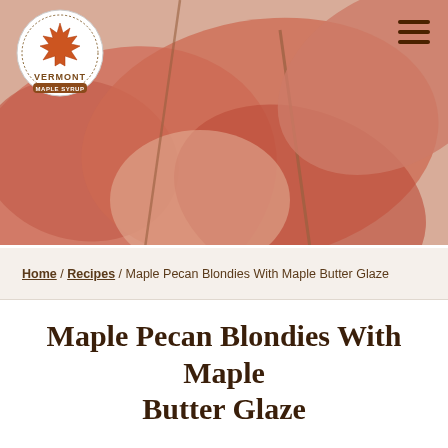[Figure (photo): Hero banner image of autumn maple leaves in warm red, orange, and pink tones with a Vermont Maple Syrup circular logo in the top left and a hamburger menu icon in the top right]
Home / Recipes / Maple Pecan Blondies With Maple Butter Glaze
Maple Pecan Blondies With Maple Butter Glaze
Makesone 9x13 pan blondies (about 30 2x2 servings)